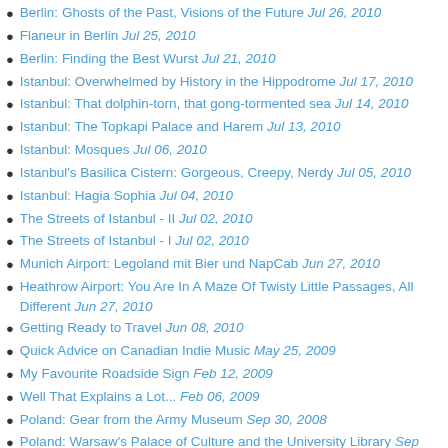Berlin: Ghosts of the Past, Visions of the Future Jul 26, 2010
Flaneur in Berlin Jul 25, 2010
Berlin: Finding the Best Wurst Jul 21, 2010
Istanbul: Overwhelmed by History in the Hippodrome Jul 17, 2010
Istanbul: That dolphin-torn, that gong-tormented sea Jul 14, 2010
Istanbul: The Topkapi Palace and Harem Jul 13, 2010
Istanbul: Mosques Jul 06, 2010
Istanbul's Basilica Cistern: Gorgeous, Creepy, Nerdy Jul 05, 2010
Istanbul: Hagia Sophia Jul 04, 2010
The Streets of Istanbul - II Jul 02, 2010
The Streets of Istanbul - I Jul 02, 2010
Munich Airport: Legoland mit Bier und NapCab Jun 27, 2010
Heathrow Airport: You Are In A Maze Of Twisty Little Passages, All Different Jun 27, 2010
Getting Ready to Travel Jun 08, 2010
Quick Advice on Canadian Indie Music May 25, 2009
My Favourite Roadside Sign Feb 12, 2009
Well That Explains a Lot... Feb 06, 2009
Poland: Gear from the Army Museum Sep 30, 2008
Poland: Warsaw's Palace of Culture and the University Library Sep 28, 2008
Poland: Warsaw Sep 23, 2008